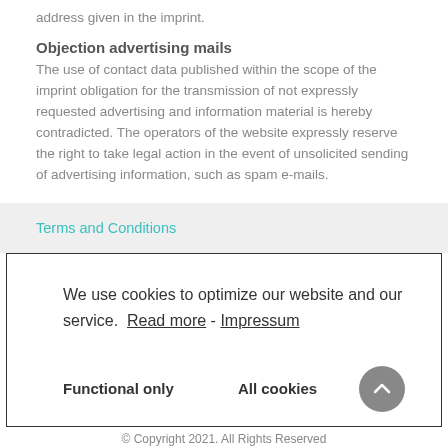address given in the imprint.
Objection advertising mails
The use of contact data published within the scope of the imprint obligation for the transmission of not expressly requested advertising and information material is hereby contradicted. The operators of the website expressly reserve the right to take legal action in the event of unsolicited sending of advertising information, such as spam e-mails.
Terms and Conditions
We use cookies to optimize our website and our service.  Read more - Impressum
Functional only   All cookies
© Copyright 2021. All Rights Reserved